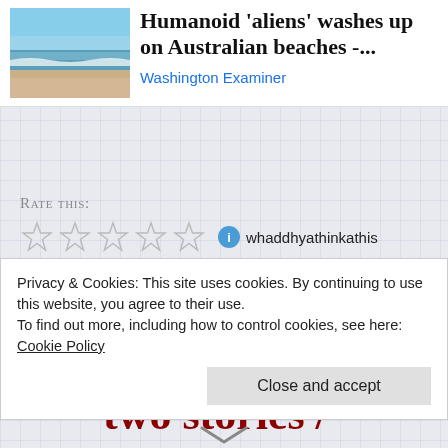[Figure (photo): Beach photo showing sandy shore and ocean waves under blue sky]
Humanoid 'aliens' washes up on Australian beaches -...
Washington Examiner
Rate this:
[Figure (other): Five empty star rating icons]
whaddhyathinkathis
20 Friday Dec 2019
'from the cathedral window two stories /
Privacy & Cookies: This site uses cookies. By continuing to use this website, you agree to their use.
To find out more, including how to control cookies, see here:
Cookie Policy
Close and accept